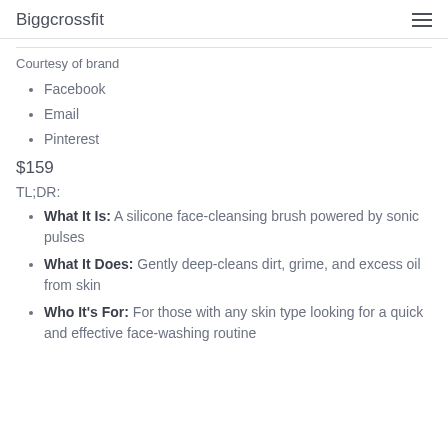Biggcrossfit
Courtesy of brand
Facebook
Email
Pinterest
$159
TL;DR:
What It Is: A silicone face-cleansing brush powered by sonic pulses
What It Does: Gently deep-cleans dirt, grime, and excess oil from skin
Who It's For: For those with any skin type looking for a quick and effective face-washing routine